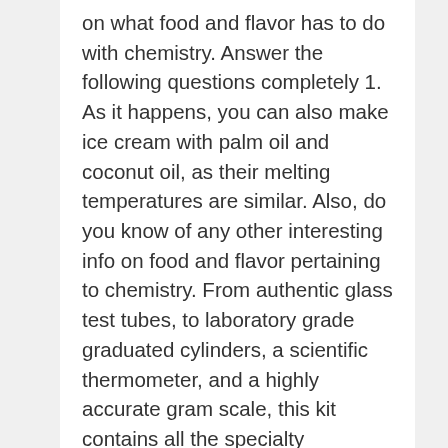on what food and flavor has to do with chemistry. Answer the following questions completely 1. As it happens, you can also make ice cream with palm oil and coconut oil, as their melting temperatures are similar. Also, do you know of any other interesting info on food and flavor pertaining to chemistry. From authentic glass test tubes, to laboratory grade graduated cylinders, a scientific thermometer, and a highly accurate gram scale, this kit contains all the specialty equipment needed to tackle our Chemistry of Ice-Cream Making: Lowering the Freezing Point of Water project. Ice cream is just a mixture of cream and/or milk, and ice - sometimes with the addition of flavours, colourings and added sugar - so there isn't really any chemistry involved. Initially, it might be hard to believe that ice cream could be all that complicated. Some other ingredients are slightly more surprising. Freezing adds another important